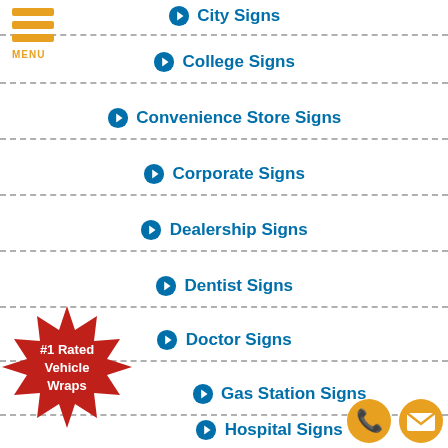[Figure (infographic): Hamburger menu icon with three orange horizontal bars and MENU label]
City Signs
College Signs
Convenience Store Signs
Corporate Signs
Dealership Signs
Dentist Signs
Doctor Signs
Gas Station Signs
Hospital Signs
[Figure (illustration): Red starburst badge with white text: #1 Rated Vehicle Wraps]
[Figure (illustration): Golden phone icon and golden envelope/email icon at bottom right]